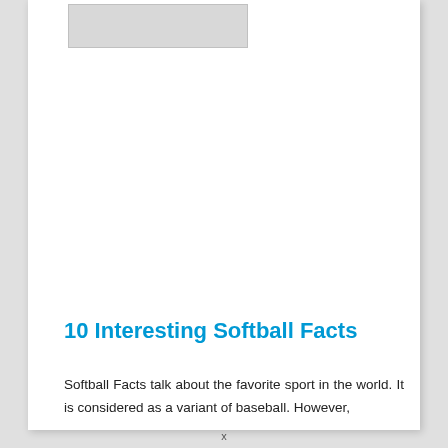[Figure (other): Partial image/thumbnail visible at top of page card, mostly cropped out of frame]
10 Interesting Softball Facts
Softball Facts talk about the favorite sport in the world. It is considered as a variant of baseball. However,